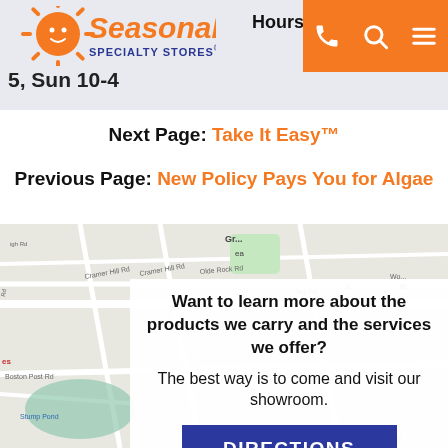Seasonal Specialty Stores | Hours: Mon ... 5, Sun 10-4
Next Page: Take It Easy™
Previous Page: New Policy Pays You for Algae
[Figure (map): Google Maps screenshot showing local road map with streets including Cramer Hill Rd, Boston Post Rd, Stump Pond, Continental Blvd, and surrounding area.]
Want to learn more about the products we carry and the services we offer? The best way is to come and visit our showroom.
DIRECTIONS